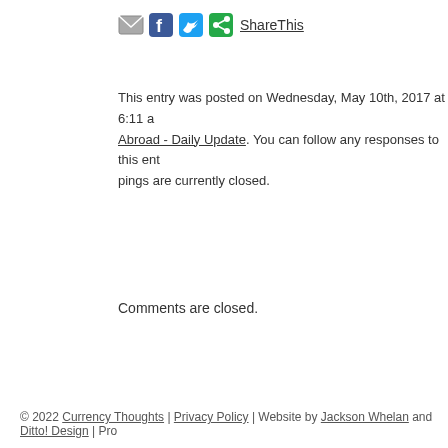[Figure (other): Social sharing icons: email, Facebook, Twitter, ShareThis button with green share icon]
This entry was posted on Wednesday, May 10th, 2017 at 6:11 a... Abroad - Daily Update. You can follow any responses to this ent... pings are currently closed.
Comments are closed.
© 2022 Currency Thoughts | Privacy Policy | Website by Jackson Whelan and Ditto! Design | Pro...